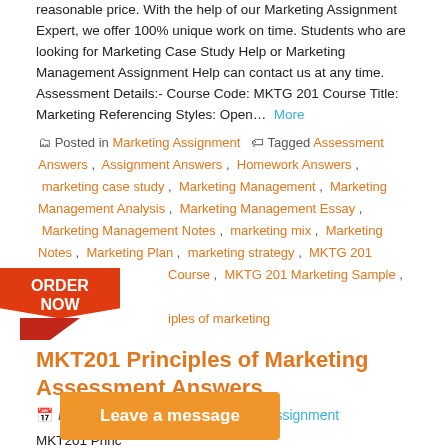reasonable price. With the help of our Marketing Assignment Expert, we offer 100% unique work on time. Students who are looking for Marketing Case Study Help or Marketing Management Assignment Help can contact us at any time. Assessment Details:- Course Code: MKTG 201 Course Title: Marketing Referencing Styles: Open… More
Posted in Marketing Assignment   Tagged Assessment Answers , Assignment Answers , Homework Answers , marketing case study , Marketing Management , Marketing Management Analysis , Marketing Management Essay , Marketing Management Notes , marketing mix , Marketing Notes , Marketing Plan , marketing strategy , MKTG 201 Course , MKTG 201 Marketing Sample , MKTG 201 principles of marketing
MKT201 Principles of Marketing Assessment Answers
Posted on November 6, 2020 by Assignment
MKT201 Princ… rategy, Buying Behavi… nies, and